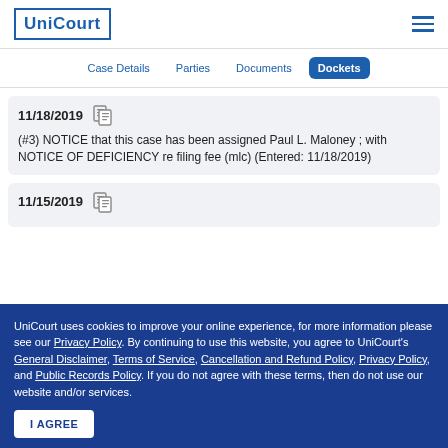UniCourt
Case Details | Parties | Documents | Dockets
11/18/2019 (#3) NOTICE that this case has been assigned Paul L. Maloney ; with NOTICE OF DEFICIENCY re filing fee (mlc) (Entered: 11/18/2019)
11/15/2019
UniCourt uses cookies to improve your online experience, for more information please see our Privacy Policy. By continuing to use this website, you agree to UniCourt's General Disclaimer, Terms of Service, Cancellation and Refund Policy, Privacy Policy, and Public Records Policy. If you do not agree with these terms, then do not use our website and/or services.
I AGREE